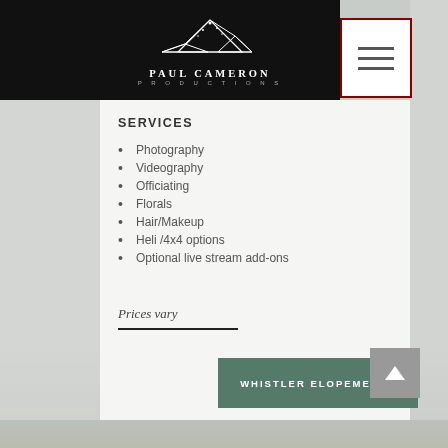[Figure (logo): Paul Cameron Productions mountain logo in white on black background]
SERVICES
Photography
Videography
Officiating
Florals
Hair/Makeup
Heli /4x4 options
Optional live stream add-ons
Prices vary
WHISTLER ELOPEMENTS